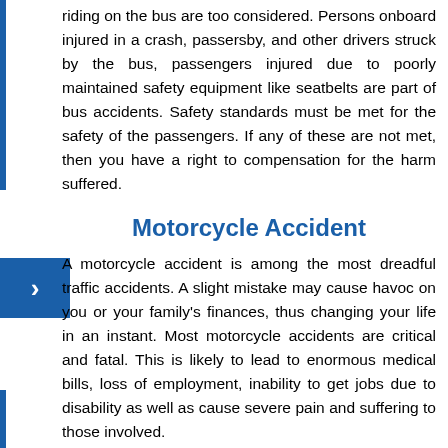riding on the bus are too considered. Persons onboard injured in a crash, passersby, and other drivers struck by the bus, passengers injured due to poorly maintained safety equipment like seatbelts are part of bus accidents. Safety standards must be met for the safety of the passengers. If any of these are not met, then you have a right to compensation for the harm suffered.
Motorcycle Accident
A motorcycle accident is among the most dreadful traffic accidents. A slight mistake may cause havoc on you or your family's finances, thus changing your life in an instant. Most motorcycle accidents are critical and fatal. This is likely to lead to enormous medical bills, loss of employment, inability to get jobs due to disability as well as cause severe pain and suffering to those involved.
Victims of such occurrences have a right to file a lawsuit for damages on the grounds of carelessness and negligence on the part of the at-fault driver on our roads. If you happen to